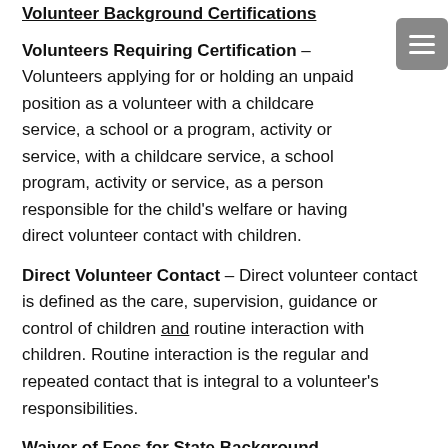Volunteer Background Certifications
Volunteers Requiring Certification – Volunteers applying for or holding an unpaid position as a volunteer with a childcare service, a school or a program, activity or service, with a childcare service, a school program, activity or service, as a person responsible for the child's welfare or having direct volunteer contact with children.
Direct Volunteer Contact – Direct volunteer contact is defined as the care, supervision, guidance or control of children and routine interaction with children. Routine interaction is the regular and repeated contact that is integral to a volunteer's responsibilities.
Waiver of Fees for State Background Certifications – Background Certification fees for state certifications (Child Line and State Police) are waived for volunteers beginning July 25, 2015. However, the fee for a federal criminal history report is not waived. Volunteer background certifications